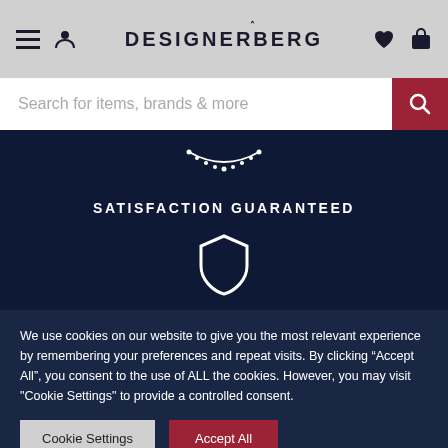DESIGNERBERG — navigation header with hamburger menu, user icon, logo, heart icon, and bag icon
Search for items, brands & more
[Figure (illustration): White necklace/jewellery icon on dark navy background]
SATISFACTION GUARANTEED
[Figure (illustration): White shield icon on dark navy background]
SAFE & SECURE CHECKOUT
We use cookies on our website to give you the most relevant experience by remembering your preferences and repeat visits. By clicking "Accept All", you consent to the use of ALL the cookies. However, you may visit "Cookie Settings" to provide a controlled consent.
Cookie Settings | Accept All